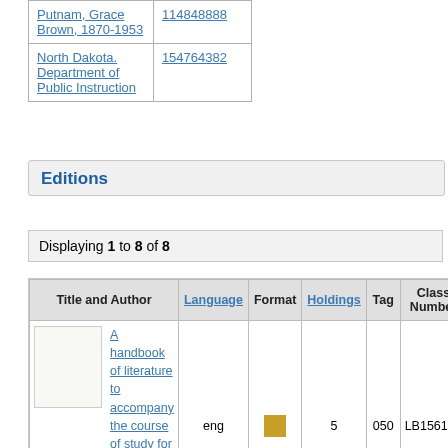| (name) | (id) |
| --- | --- |
| Putnam, Grace Brown, 1870-1953 | 114848888 |
| North Dakota. Department of Public Instruction | 154764382 |
Editions
Displaying 1 to 8 of 8
| Title and Author | Language | Format | Holdings | Tag | Class Number |
| --- | --- | --- | --- | --- | --- |
| A handbook of literature to accompany the course of study for the elementary schools of North | eng | [book icon] | 5 | 050 | LB1561.N |